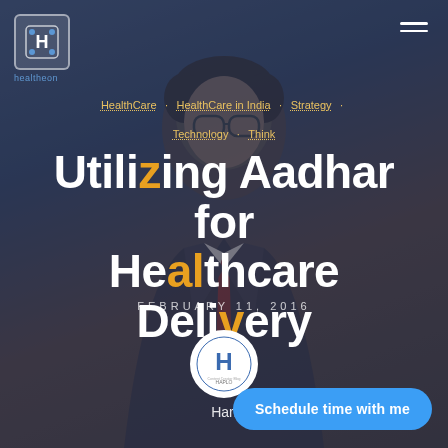[Figure (photo): Background photo of a man in a suit and tie wearing glasses, overlaid with a dark blue-grey tint. The page is a blog post cover image.]
Healtheon logo and hamburger menu
HealthCare · HealthCare in India · Strategy · Technology · Think
Utilizing Aadhar for Healthcare Delivery
FEBRUARY 11, 2016
[Figure (logo): Haplo circular logo with H symbol]
Hari
Schedule time with me